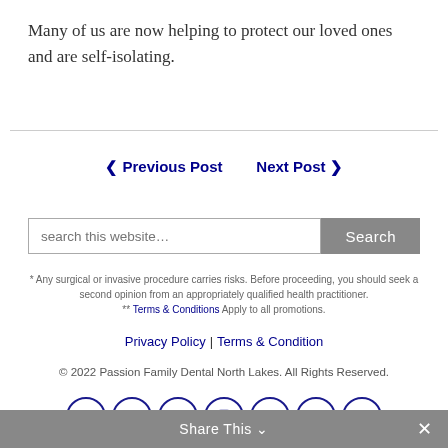Many of us are now helping to protect our loved ones and are self-isolating.
< Previous Post   Next Post >
search this website… Search
* Any surgical or invasive procedure carries risks. Before proceeding, you should seek a second opinion from an appropriately qualified health practitioner.
** Terms & Conditions Apply to all promotions.
Privacy Policy | Terms & Condition
© 2022 Passion Family Dental North Lakes. All Rights Reserved.
[Figure (other): Social media icon links: Twitter, Facebook, Google+, Instagram, Pinterest, YouTube, LinkedIn]
Share This ˅  ✕